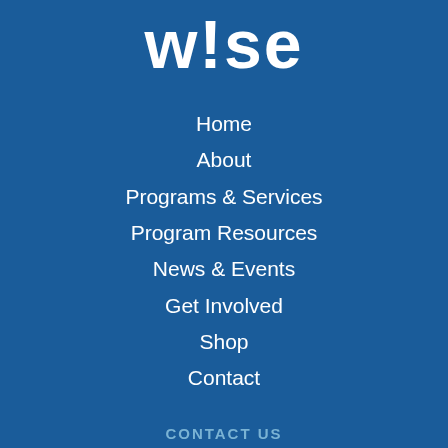[Figure (logo): W!se logo with stylized text in white on blue background]
Home
About
Programs & Services
Program Resources
News & Events
Get Involved
Shop
Contact
CONTACT US
227 E. 56th Street, Suite 201
New York, NY 10022